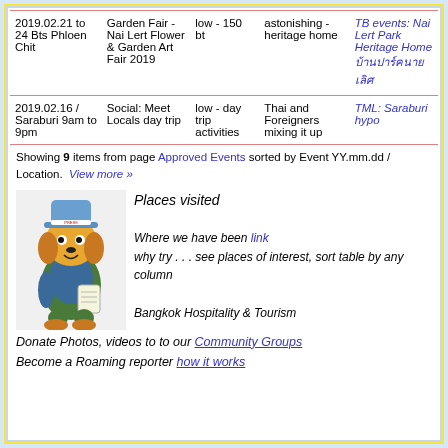| Date/Location | Event | Cost | Description | Link |
| --- | --- | --- | --- | --- |
| 2019.02.21 to 24 Bts Phloen Chit | Garden Fair - Nai Lert Flower & Garden Art Fair 2019 | low - 150 bt | astonishing - heritage home | TB events: Nai Lert Park Heritage Home บ้านปาร์คนายเลิศ |
| 2019.02.16 / Saraburi 9am to 9pm | Social: Meet Locals day trip | low - day trip activities | Thai and Foreigners mixing it up | TML: Saraburi hypo |
Showing 9 items from page Approved Events sorted by Event YY.mm.dd / Location. View more »
Places visited
[Figure (illustration): Cartoon dog mascot wearing a blue hat and tourist/reporter outfit holding a notepad]
Where we have been link
why try . . . see places of interest, sort table by any column

Bangkok Hospitality & Tourism
Donate Photos, videos to to our Community Groups
Become a Roaming reporter how it works